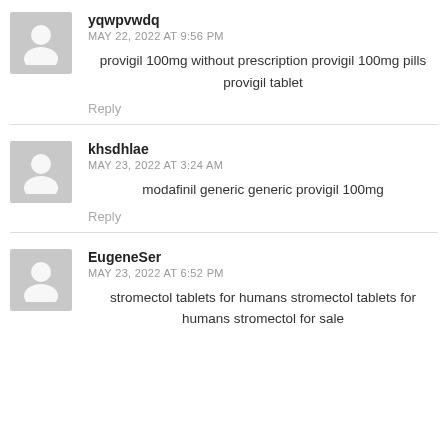yqwpvwdq
MAY 22, 2022 AT 9:56 PM
provigil 100mg without prescription provigil 100mg pills provigil tablet
Reply
khsdhlae
MAY 23, 2022 AT 3:24 AM
modafinil generic generic provigil 100mg
Reply
EugeneSer
MAY 23, 2022 AT 6:52 PM
stromectol tablets for humans stromectol tablets for humans stromectol for sale